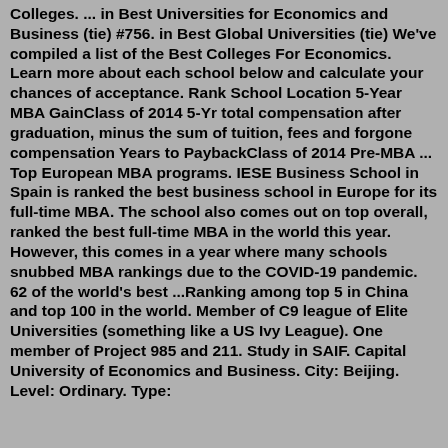Colleges. ... in Best Universities for Economics and Business (tie) #756. in Best Global Universities (tie) We've compiled a list of the Best Colleges For Economics. Learn more about each school below and calculate your chances of acceptance. Rank School Location 5-Year MBA GainClass of 2014 5-Yr total compensation after graduation, minus the sum of tuition, fees and forgone compensation Years to PaybackClass of 2014 Pre-MBA ... Top European MBA programs. IESE Business School in Spain is ranked the best business school in Europe for its full-time MBA. The school also comes out on top overall, ranked the best full-time MBA in the world this year. However, this comes in a year where many schools snubbed MBA rankings due to the COVID-19 pandemic. 62 of the world's best ...Ranking among top 5 in China and top 100 in the world. Member of C9 league of Elite Universities (something like a US Ivy League). One member of Project 985 and 211. Study in SAIF. Capital University of Economics and Business. City: Beijing. Level: Ordinary. Type: